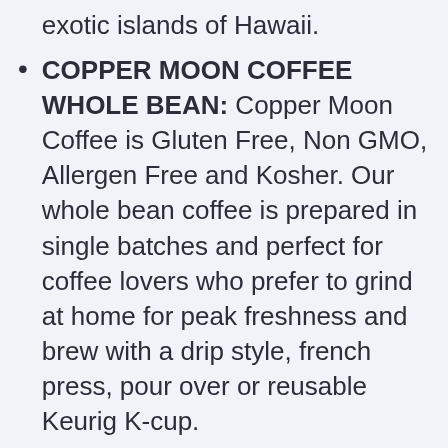exotic islands of Hawaii.
COPPER MOON COFFEE WHOLE BEAN: Copper Moon Coffee is Gluten Free, Non GMO, Allergen Free and Kosher. Our whole bean coffee is prepared in single batches and perfect for coffee lovers who prefer to grind at home for peak freshness and brew with a drip style, french press, pour over or reusable Keurig K-cup.
REACH FOR THE MOON!! Copper Moon Coffee is a family roastery focused on a simple mission: to create evenly roasted, uniquely smooth, high grade coffee, giving you a perfectly satisfying taste that's out of this world.
SUSTAINABLE COFFEE SOURCING: Copper Moon Coffee has created a...